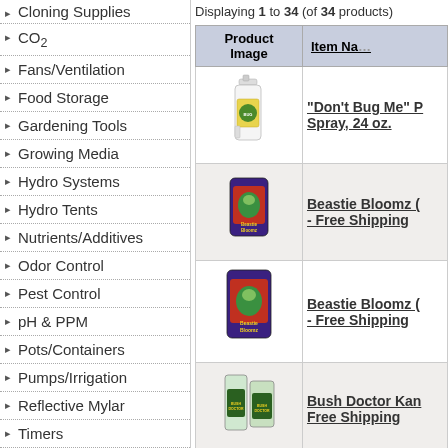Cloning Supplies
CO2
Fans/Ventilation
Food Storage
Gardening Tools
Growing Media
Hydro Systems
Hydro Tents
Nutrients/Additives
Odor Control
Pest Control
pH & PPM
Pots/Containers
Pumps/Irrigation
Reflective Mylar
Timers
Trimmers
Learning Center
Specials ...
Displaying 1 to 34 (of 34 products)
| Product Image | Item Name |
| --- | --- |
| [spray bottle image] | "Don't Bug Me" Spray, 24 oz. |
| [Beastie Bloomz jar image] | Beastie Bloomz - Free Shipping |
| [Beastie Bloomz larger jar image] | Beastie Bloomz - Free Shipping |
| [Bush Doctor Kangaroots image] | Bush Doctor Kan - Free Shipping |